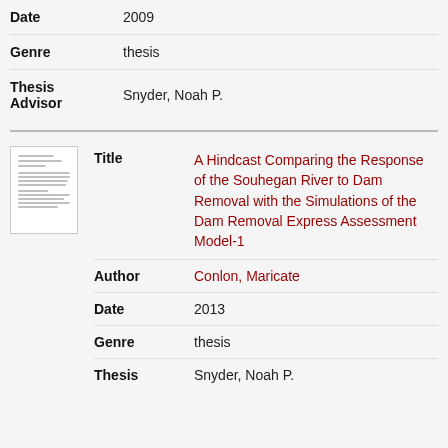| Field | Value |
| --- | --- |
| Date | 2009 |
| Genre | thesis |
| Thesis Advisor | Snyder, Noah P. |
| Field | Value |
| --- | --- |
| Title | A Hindcast Comparing the Response of the Souhegan River to Dam Removal with the Simulations of the Dam Removal Express Assessment Model-1 |
| Author | Conlon, Maricate |
| Date | 2013 |
| Genre | thesis |
| Thesis | Snyder, Noah P. |